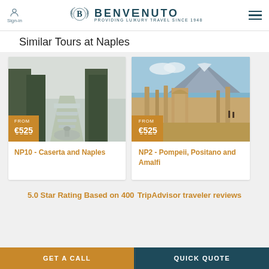[Figure (logo): Benvenuto luxury travel logo with laurel wreath emblem and text 'BENVENUTO PROVIDING LUXURY TRAVEL SINCE 1948']
Similar Tours at Naples
[Figure (photo): Garden avenue with reflecting pools and statues, misty/foggy landscape, Caserta palace gardens]
FROM
€525
NP10 - Caserta and Naples
[Figure (photo): Pompeii ruins with Mount Vesuvius in background under blue sky]
FROM
€525
NP2 - Pompeii, Positano and Amalfi
5.0 Star Rating Based on 400 TripAdvisor traveler reviews
GET A CALL    QUICK QUOTE